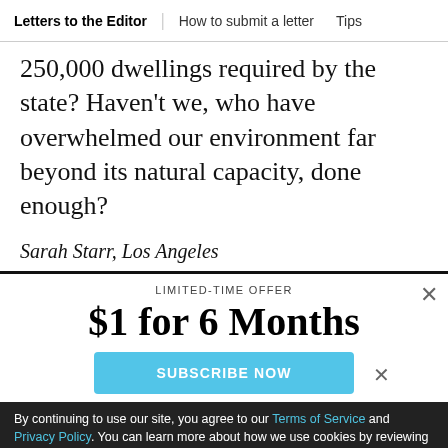Letters to the Editor | How to submit a letter | Tips
250,000 dwellings required by the state? Haven't we, who have overwhelmed our environment far beyond its natural capacity, done enough?
Sarah Starr, Los Angeles
LIMITED-TIME OFFER
$1 for 6 Months
SUBSCRIBE NOW
By continuing to use our site, you agree to our Terms of Service and Privacy Policy. You can learn more about how we use cookies by reviewing our Privacy Policy. Close